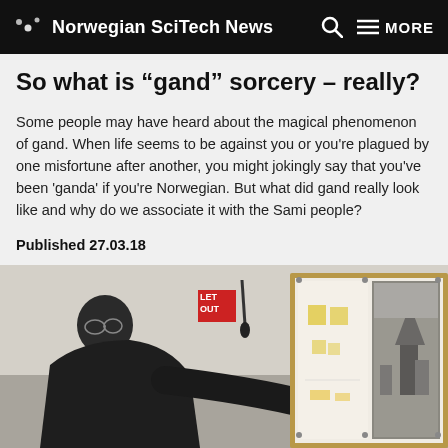Norwegian SciTech News
So what is “gand” sorcery – really?
Some people may have heard about the magical phenomenon of gand. When life seems to be against you or you're plagued by one misfortune after another, you might jokingly say that you've been 'ganda' if you're Norwegian. But what did gand really look like and why do we associate it with the Sami people?
Published 27.03.18
[Figure (photo): A man examining or pinning papers/images on a corkboard or display wall, shown in a workshop or studio setting. On the board are various papers with drawings and a photograph on the right side. A red sign is visible on the wall to the left.]